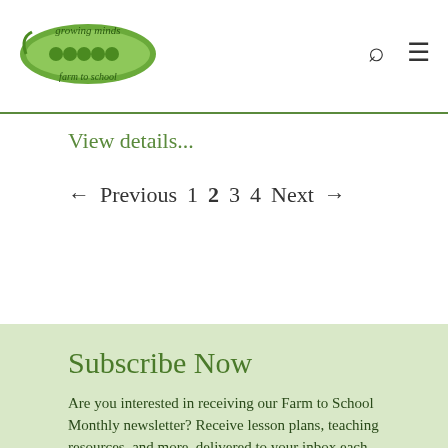[Figure (logo): Growing Minds Farm to School logo — green leaf/pea pod shape with text 'growing minds' and 'farm to school']
View details...
← Previous  1  2  3  4  Next →
Subscribe Now
Are you interested in receiving our Farm to School Monthly newsletter? Receive lesson plans, teaching resources, and more, delivered to your inbox each month. You can also sign up for ASAP's other newsletters.